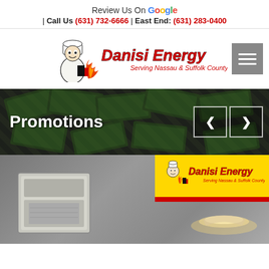Review Us On Google | Call Us (631) 732-6666 | East End: (631) 283-0400
[Figure (logo): Danisi Energy logo with cartoon chef mascot, flame, and text 'Serving Nassau & Suffolk County']
[Figure (photo): Dark banner with scattered US dollar bills in the background, 'Promotions' heading in white text, and left/right navigation arrows]
[Figure (photo): Promotional card with HVAC unit on left, lamp light on right, Danisi Energy logo in yellow top-right corner]